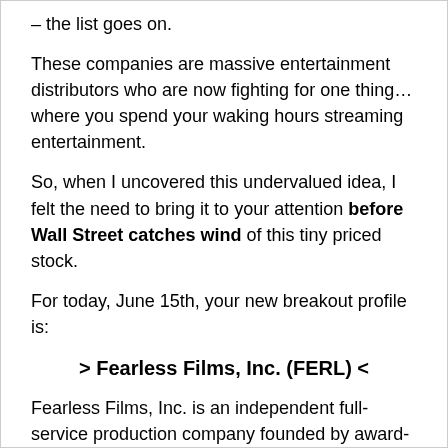– the list goes on.
These companies are massive entertainment distributors who are now fighting for one thing… where you spend your waking hours streaming entertainment.
So, when I uncovered this undervalued idea, I felt the need to bring it to your attention before Wall Street catches wind of this tiny priced stock.
For today, June 15th, your new breakout profile is:
> Fearless Films, Inc. (FERL) <
Fearless Films, Inc. is an independent full-service production company founded by award-winning actor/ producer Victor Altomare along with award-winning writer and director Goran Kalezic. The